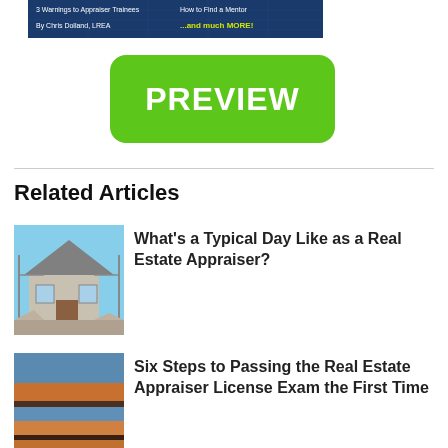[Figure (screenshot): Top portion of a book or guide cover with dark blue background showing text '3 Warnings to Appraiser Trainees', 'How to Find a Mentor', 'By Chris Dolland, LREA', '...and much MORE!']
[Figure (other): Green rounded button labeled PREVIEW]
Related Articles
[Figure (photo): Photo of a house under construction]
What's a Typical Day Like as a Real Estate Appraiser?
[Figure (photo): Photo of a building with horizontal siding stripes in orange and blue]
Six Steps to Passing the Real Estate Appraiser License Exam the First Time
[Figure (photo): Photo of a house exterior]
How to Become a Real Estate Appraiser